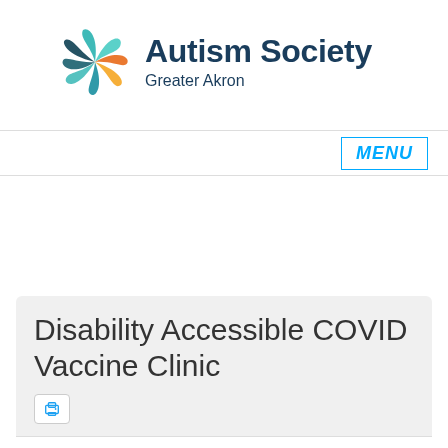[Figure (logo): Autism Society Greater Akron logo with colorful swirl icon and dark teal text]
MENU
Disability Accessible COVID Vaccine Clinic
Tweet